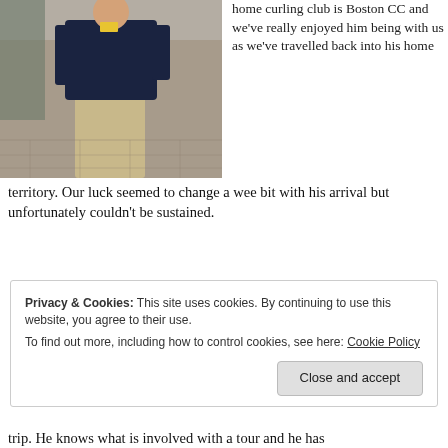[Figure (photo): A person standing outdoors on a brick sidewalk, wearing a dark navy sweater and khaki/tan trousers, with a metal fence and brick wall visible behind them.]
home curling club is Boston CC and we've really enjoyed him being with us as we've travelled back into his home territory. Our luck seemed to change a wee bit with his arrival but unfortunately couldn't be sustained.
Privacy & Cookies: This site uses cookies. By continuing to use this website, you agree to their use.
To find out more, including how to control cookies, see here: Cookie Policy
trip. He knows what is involved with a tour and he has